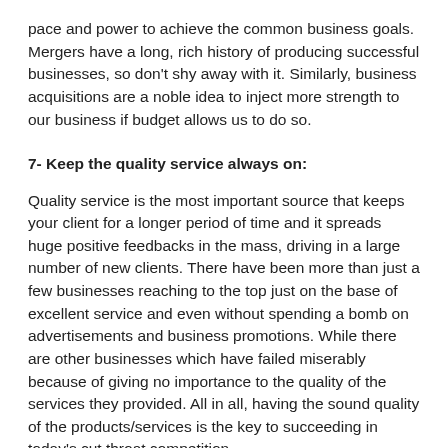pace and power to achieve the common business goals. Mergers have a long, rich history of producing successful businesses, so don't shy away with it. Similarly, business acquisitions are a noble idea to inject more strength to our business if budget allows us to do so.
7- Keep the quality service always on:
Quality service is the most important source that keeps your client for a longer period of time and it spreads huge positive feedbacks in the mass, driving in a large number of new clients. There have been more than just a few businesses reaching to the top just on the base of excellent service and even without spending a bomb on advertisements and business promotions. While there are other businesses which have failed miserably because of giving no importance to the quality of the services they provided. All in all, having the sound quality of the products/services is the key to succeeding in today's cut throat competition.